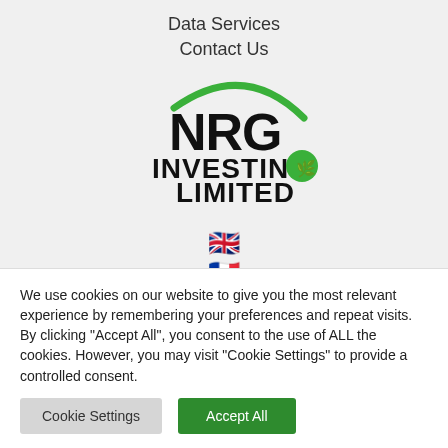Data Services
Contact Us
[Figure (logo): NRG Investing Limited logo with green swoosh and green leaf icon]
[Figure (illustration): UK flag emoji, French flag emoji, Spanish flag emoji stacked vertically]
We use cookies on our website to give you the most relevant experience by remembering your preferences and repeat visits. By clicking "Accept All", you consent to the use of ALL the cookies. However, you may visit "Cookie Settings" to provide a controlled consent.
Cookie Settings | Accept All